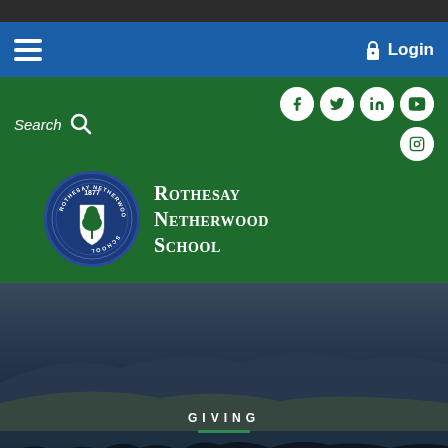Navigation bar with hamburger menu and Login button
[Figure (screenshot): School website header with search bar, social media icons (Facebook, Twitter, LinkedIn, YouTube, Instagram), Rothesay Netherwood School logo with crest (1877), and school name]
GIVING
RNS COMMUNITY